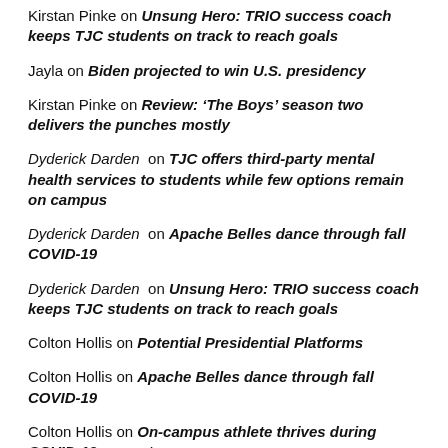Kirstan Pinke on Unsung Hero: TRIO success coach keeps TJC students on track to reach goals
Jayla on Biden projected to win U.S. presidency
Kirstan Pinke on Review: ‘The Boys’ season two delivers the punches mostly
Dyderick Darden on TJC offers third-party mental health services to students while few options remain on campus
Dyderick Darden on Apache Belles dance through fall COVID-19
Dyderick Darden on Unsung Hero: TRIO success coach keeps TJC students on track to reach goals
Colton Hollis on Potential Presidential Platforms
Colton Hollis on Apache Belles dance through fall COVID-19
Colton Hollis on On-campus athlete thrives during COVID-19 semester
Jonathan Martinez on Column: Should junior colleges be easier than university?